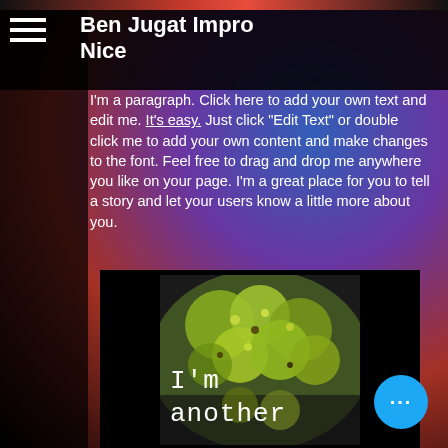Ben Jugat Impro Nice
I'm a paragraph. Click here to add your own text and edit me. It's easy. Just click "Edit Text" or double click me to add your own content and make changes to the font. Feel free to drag and drop me anywhere you like on your page. I'm a great place for you to tell a story and let your users know a little more about you.
[Figure (photo): Close-up photo of yellow-green flowering plant or bush against blurred background]
I'm another